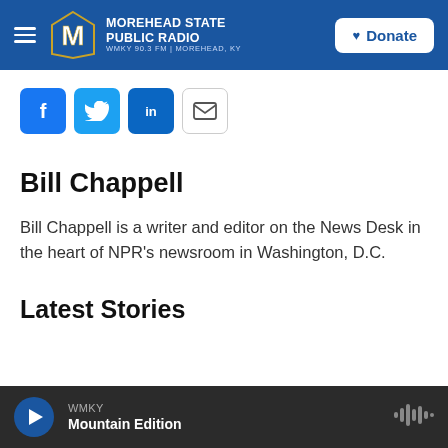MOREHEAD STATE PUBLIC RADIO — WMKY 90.3 FM | MOREHEAD, KY — Donate
[Figure (infographic): Social share buttons: Facebook, Twitter, LinkedIn, Email]
Bill Chappell
Bill Chappell is a writer and editor on the News Desk in the heart of NPR's newsroom in Washington, D.C.
Latest Stories
WMKY — Mountain Edition